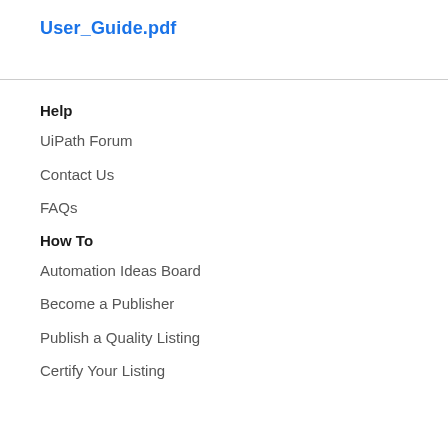User_Guide.pdf
Help
UiPath Forum
Contact Us
FAQs
How To
Automation Ideas Board
Become a Publisher
Publish a Quality Listing
Certify Your Listing